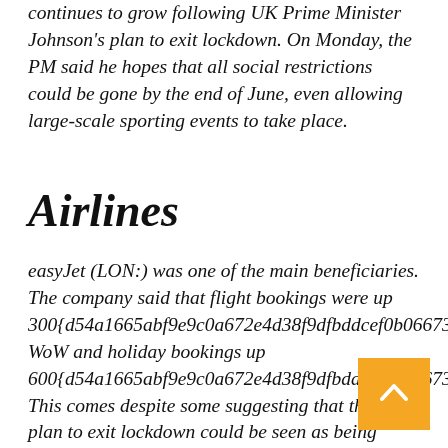continues to grow following UK Prime Minister Johnson's plan to exit lockdown. On Monday, the PM said he hopes that all social restrictions could be gone by the end of June, even allowing large-scale sporting events to take place.
Airlines
easyJet (LON:) was one of the main beneficiaries. The company said that flight bookings were up 300{d54a1665abf9e9c0a672e4d38f9dfbddcef0b06673b WoW and holiday bookings up 600{d54a1665abf9e9c0a672e4d38f9dfbddcef0b06673b This comes despite some suggesting that the UK plan to exit lockdown could be seen as being overly cautious. Tui AG NA (LON:), the dual German/UK lister tour ope also rallied.  The company said demand for Greece Spain, and Turkish holidays was up sixfold overnight.